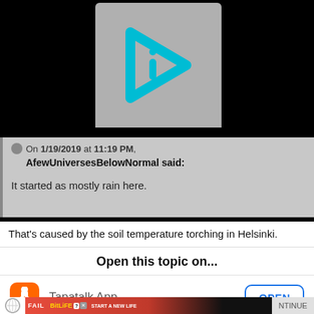[Figure (logo): Gray box with cyan play-button shaped logo with letter i inside, on black background]
On 1/19/2019 at 11:19 PM, AfewUniversesBelowNormal said:

It started as mostly rain here.
That's caused by the soil temperature torching in Helsinki.
Open this topic on...
Tapatalk App
[Figure (screenshot): BitLife advertisement banner: red background with flames, blonde character, BitLife logo with question mark and X button, START A NEW LIFE text]